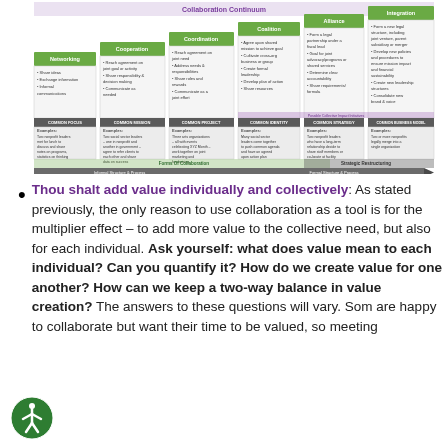[Figure (infographic): Collaboration continuum diagram showing five levels: Networking, Cooperation, Coordination, Coalition, Alliance, and Integration. Each level has bullet points describing characteristics. A spectrum arrow at bottom shows Informal Structure & Process on left to Formal Structure & Process on right. Labeled 'Forms of Collaboration' and 'Strategic Restructuring' below. © 2020 Social Impact Architects.]
Thou shalt add value individually and collectively: As stated previously, the only reason to use collaboration as a tool is for the multiplier effect – to add more value to the collective need, but also for each individual. Ask yourself: what does value mean to each individual? Can you quantify it? How do we create value for one another? How can we keep a two-way balance in value creation? The answers to these questions will vary. Some are happy to collaborate but want their time to be valued, so meeting